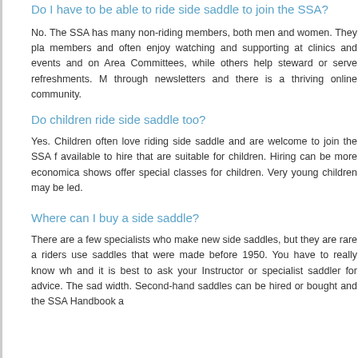Do I have to be able to ride side saddle to join the SSA?
No. The SSA has many non-riding members, both men and women. They play an important role as members and often enjoy watching and supporting at clinics and events and some serve on Area Committees, while others help steward or serve refreshments. Members keep in touch through newsletters and there is a thriving online community.
Do children ride side saddle too?
Yes. Children often love riding side saddle and are welcome to join the SSA from birth! Saddles are available to hire that are suitable for children. Hiring can be more economical and some shows offer special classes for children. Very young children may be led.
Where can I buy a side saddle?
There are a few specialists who make new side saddles, but they are rare and expensive. Most riders use saddles that were made before 1950. You have to really know what you are looking for and it is best to ask your Instructor or specialist saddler for advice. The saddle must be the right width. Second-hand saddles can be hired or bought and the SSA Handbook a